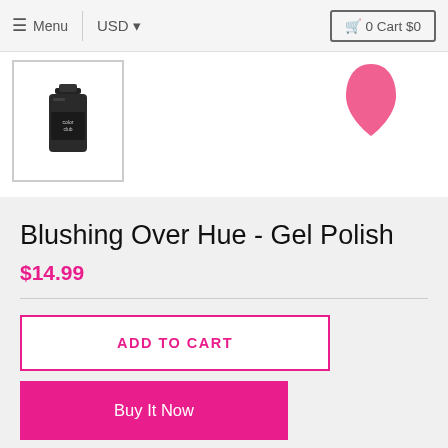☰ Menu  |  USD ▾  🛒 0 Cart $0
[Figure (photo): Product thumbnail image of a dark nail polish bottle in a bordered box, and a pink teardrop/egg shape in the top right]
Blushing Over Hue - Gel Polish
$14.99
ADD TO CART
Buy It Now
Add to Wishlist